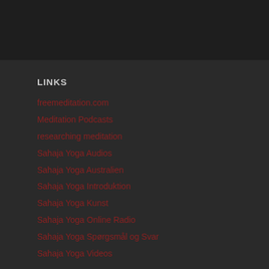LINKS
freemeditation.com
Meditation Podcasts
researching meditation
Sahaja Yoga Audios
Sahaja Yoga Australien
Sahaja Yoga Introduktion
Sahaja Yoga Kunst
Sahaja Yoga Online Radio
Sahaja Yoga Spørgsmål og Svar
Sahaja Yoga Videos